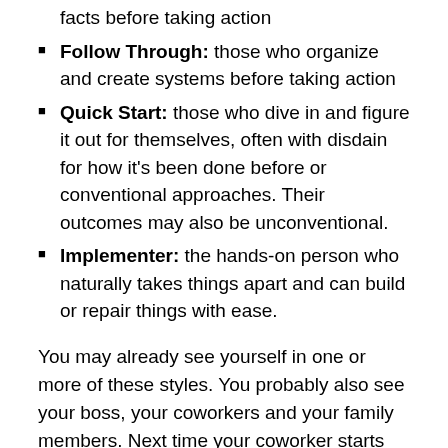facts before taking action
Follow Through: those who organize and create systems before taking action
Quick Start: those who dive in and figure it out for themselves, often with disdain for how it's been done before or conventional approaches. Their outcomes may also be unconventional.
Implementer: the hands-on person who naturally takes things apart and can build or repair things with ease.
You may already see yourself in one or more of these styles. You probably also see your boss, your coworkers and your family members. Next time your coworker starts install the new equipment without reading the directions, you'll be able to recognize (and appreciate) his strong Implementer style, which makes your Fact Finder blood